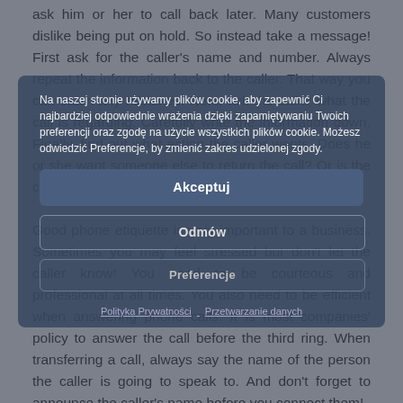ask him or her to call back later. Many customers dislike being put on hold. So instead take a message! First ask for the caller's name and number. Always repeat the information back to the caller. That way you can catch any mistakes. Next, ask the caller what the call is regarding. Carefully write the information down. Finally, find out what action the caller wants. Does he or she want someone else to return the call? Or is the caller simply passing on information? Good phone etiquette is very important to a business. Sometimes you may feel stressed but don't let the caller know! You need to be courteous and professional at all times. You also need to be efficient when answering phone calls. It is most companies' policy to answer the call before the third ring. When transferring a call, always say the name of the person the caller is going to speak to. And don't forget to announce the caller's name before you connect them!
Na naszej stronie używamy plików cookie, aby zapewnić Ci najbardziej odpowiednie wrażenia dzięki zapamiętywaniu Twoich preferencji oraz zgodę na użycie wszystkich plików cookie. Możesz odwiedzić Preferencje, by zmienić zakres udzielonej zgody.
Akceptuj
Odmów
Preferencje
Polityka Prywatności   Przetwarzanie danych